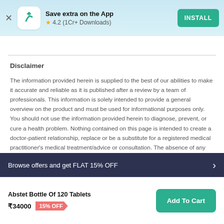Save extra on the App ★ 4.2 (1Cr+ Downloads) INSTALL
Disclaimer
The information provided herein is supplied to the best of our abilities to make it accurate and reliable as it is published after a review by a team of professionals. This information is solely intended to provide a general overview on the product and must be used for informational purposes only. You should not use the information provided herein to diagnose, prevent, or cure a health problem. Nothing contained on this page is intended to create a doctor-patient relationship, replace or be a substitute for a registered medical practitioner's medical treatment/advice or consultation. The absence of any information or warning to any medicine shall not be considered and assumed as an implied assurance. We highly recommend that you consult your registered medical practitioner for all queries or doubts related to your medical condition. You
Browse offers and get FLAT 15% OFF
Abstet Bottle Of 120 Tablets ₹34000 15% OFF Add To Cart